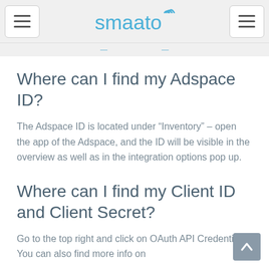smaato
Where can I find my Adspace ID?
The Adspace ID is located under “Inventory” – open the app of the Adspace, and the ID will be visible in the overview as well as in the integration options pop up.
Where can I find my Client ID and Client Secret?
Go to the top right and click on OAuth API Credentials. You can also find more info on